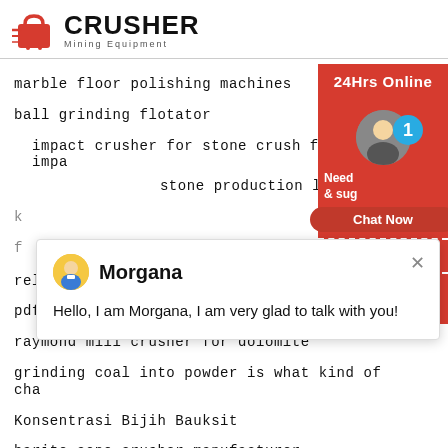[Figure (logo): Crusher Mining Equipment logo with red shopping bag icon and bold CRUSHER text]
marble floor polishing machines
ball grinding flotator
impact crusher for stone crush for sale impact crusher for stone production line
k...
f...
[Figure (screenshot): Chat popup with avatar of Morgana, close button X, and message: Hello, I am Morgana, I am very glad to talk with you!]
reliable performance stone mining cone crusher
pdf ntpc project report dadri
raymond mill crusher for dolomite
grinding coal into powder is what kind of change
Konsentrasi Bijih Bauksit
barite cone crusher manufacturer
[Figure (infographic): Red right sidebar with 24Hrs Online bar, agent photo with blue badge showing 1, Need & suggestions text, Chat Now button, Enquiry section, and limingjlmofen@sina.com email]